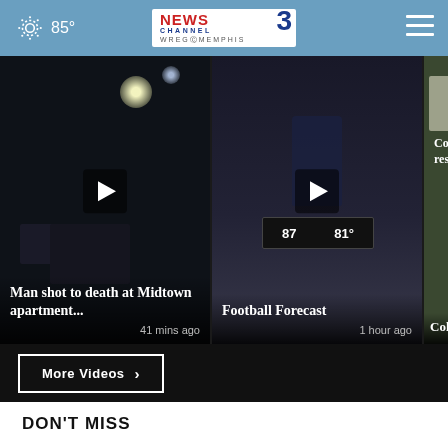85° NewsChannel 3 WREG Memphis
[Figure (screenshot): Video thumbnail: Man shot to death at Midtown apartment - night scene with lights, play button overlay. 41 mins ago]
[Figure (screenshot): Video thumbnail: Football Forecast - man waving with scoreboard showing 87 and 81 degrees, play button overlay. 1 hour ago]
[Figure (screenshot): Video thumbnail: Collie responds - partial view, outdoor setting]
More Videos ›
DON'T MISS
[Figure (screenshot): Video thumbnail: close-up of person's face, play button overlay]